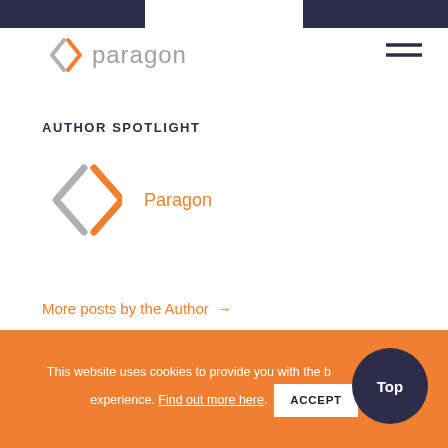paragon
AUTHOR SPOTLIGHT
[Figure (logo): Paragon logo icon (angular bracket design in gray and orange) with author name 'Paragon' in orange text]
More posts by the Author →
SEARCH... →
This website uses cookies to provide you with the best browsing experience. Find out more here. ACCEPT